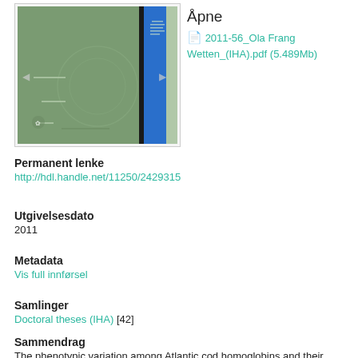[Figure (screenshot): Thumbnail of document cover with green and blue design]
Åpne
2011-56_Ola Frang Wetten_(IHA).pdf (5.489Mb)
Permanent lenke
http://hdl.handle.net/11250/2429315
Utgivelsesdato
2011
Metadata
Vis full innførsel
Samlinger
Doctoral theses (IHA) [42]
Sammendrag
The phenotypic variation among Atlantic cod homoglobins and their